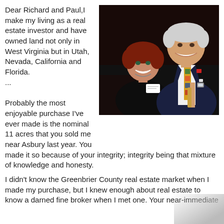Dear Richard and Paul,I make my living as a real estate investor and have owned land not only in West Virginia but in Utah, Nevada, California and Florida. ...
[Figure (photo): A smiling woman with red hair and a man in a dark suit with a colorful tie, posing together at what appears to be a formal event.]
Probably the most enjoyable purchase I've ever made is the nominal 11 acres that you sold me near Asbury last year. You made it so because of your integrity; integrity being that mixture of knowledge and honesty.
I didn't know the Greenbrier County real estate market when I made my purchase, but I knew enough about real estate to know a darned fine broker when I met one. Your near-immediate